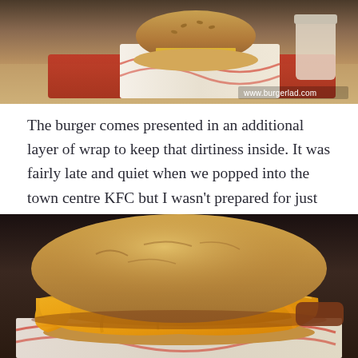[Figure (photo): Photo of a burger in packaging on a tray with a drink, watermark www.burgerlad.com visible in bottom right corner]
The burger comes presented in an additional layer of wrap to keep that dirtiness inside. It was fairly late and quiet when we popped into the town centre KFC but I wasn't prepared for just how good this is.
[Figure (photo): Close-up photo of a large KFC burger with melted cheese sauce dripping over crispy fried chicken on a bun, KFC branded wrapper visible underneath]